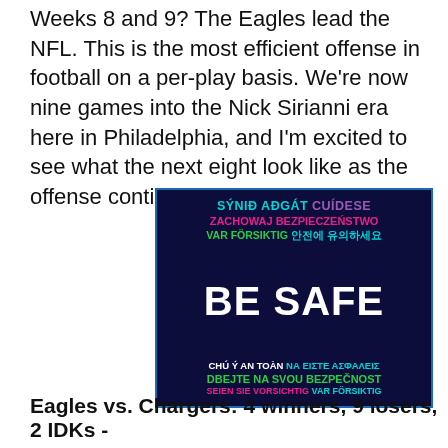Weeks 8 and 9? The Eagles lead the NFL. This is the most efficient offense in football on a per-play basis. We're now nine games into the Nick Sirianni era here in Philadelphia, and I'm excited to see what the next eight look like as the offense continues to take shape.
[Figure (infographic): Dark navy blue background box with multilingual 'BE SAFE' safety message. Top section shows: 'SÝNIÐ AÐGÁT' in cyan, 'CUÍDESE' in purple, 'ZACHOWAJ BEZPIECZEŃSTWO' in magenta, 'VAR FÖRSIKTIG' in green, '안전에 유의하세요' in cyan. Middle shows large bold white text 'BE SAFE'. Bottom shows: 'CHÚ Ý AN TOÀN' in white, 'ΝΑ ΕΙΣΤΕ ΑΣΦΑΛΕΙΣ' in cyan, 'DBEJTE NA SVOU BEZPEČNOST' in green, 'SEIEN SIE VORSICHTIG' in magenta, 'VAR FÖRSIKTIG' in cyan.]
Eagles vs. Chargers: 4 winners, 9 losers, 2 IDKs -